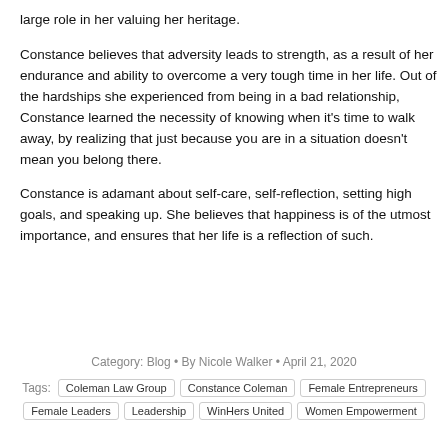large role in her valuing her heritage.
Constance believes that adversity leads to strength, as a result of her endurance and ability to overcome a very tough time in her life. Out of the hardships she experienced from being in a bad relationship, Constance learned the necessity of knowing when it’s time to walk away, by realizing that just because you are in a situation doesn’t mean you belong there.
Constance is adamant about self-care, self-reflection, setting high goals, and speaking up. She believes that happiness is of the utmost importance, and ensures that her life is a reflection of such.
Category: Blog • By Nicole Walker • April 21, 2020
Tags: Coleman Law Group | Constance Coleman | Female Entrepreneurs | Female Leaders | Leadership | WinHers United | Women Empowerment